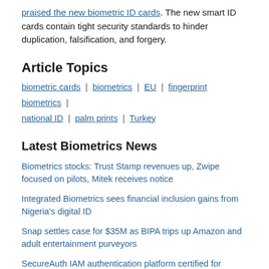praised the new biometric ID cards. The new smart ID cards contain tight security standards to hinder duplication, falsification, and forgery.
Article Topics
biometric cards | biometrics | EU | fingerprint biometrics | national ID | palm prints | Turkey
Latest Biometrics News
Biometrics stocks: Trust Stamp revenues up, Zwipe focused on pilots, Mitek receives notice
Integrated Biometrics sees financial inclusion gains from Nigeria's digital ID
Snap settles case for $35M as BIPA trips up Amazon and adult entertainment purveyors
SecureAuth IAM authentication platform certified for FIDO2
Socure praises digital identity focus, overdue standards project in CHIPS and Science Act
Biometrics...